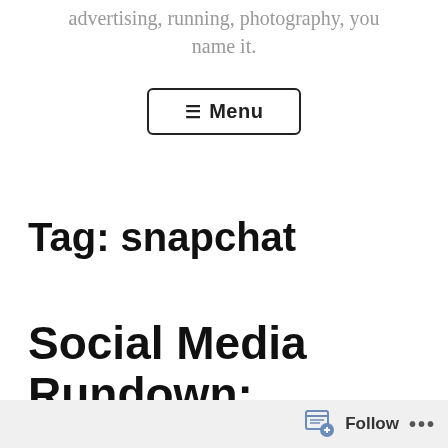advertising, running, photography, you name it.
[Figure (other): Menu button with hamburger icon (≡ Menu)]
Tag: snapchat
Social Media Rundown: Facebook Research (or
Follow ...